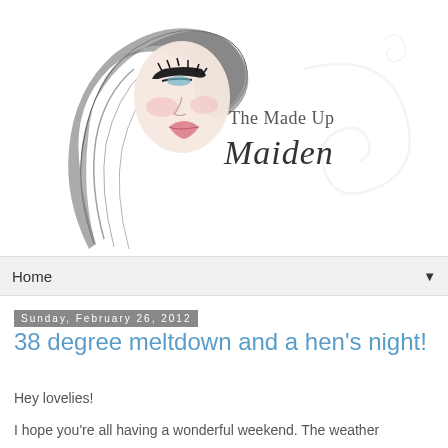[Figure (logo): The Made Up Maiden blog logo featuring an illustrated woman's face with flowing grey hair and decorative swirl elements, with cursive text reading 'The Made Up Maiden']
Home
Sunday, February 26, 2012
38 degree meltdown and a hen's night!
Hey lovelies!
I hope you're all having a wonderful weekend. The weather